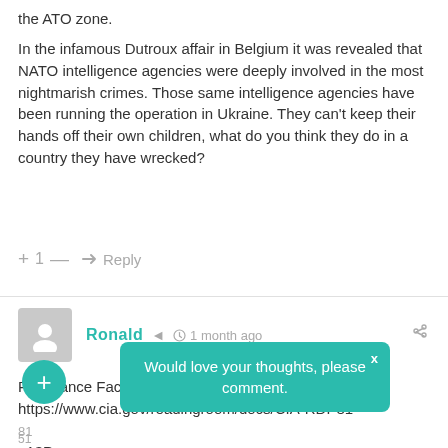the ATO zone.
In the infamous Dutroux affair in Belgium it was revealed that NATO intelligence agencies were deeply involved in the most nightmarish crimes. Those same intelligence agencies have been running the operation in Ukraine. They can't keep their hands off their own children, what do you think they do in a country they have wrecked?
+ 1 — ➤ Reply
Ronald · 1 month ago
Resistance Factors And Special Forces Areas Ukraine https://www.cia.gov/readingroom/docs/CIA-RDP81-... Related ... ally released,
Would love your thoughts, please comment.